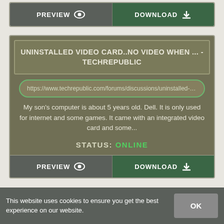[Figure (screenshot): Top portion of a web card with PREVIEW and DOWNLOAD buttons]
UNINSTALLED VIDEO CARD..NO VIDEO WHEN ... - TECHREPUBLIC
https://www.techrepublic.com/forums/discussions/uninstalled-vi...
My son's computer is about 5 years old. Dell. It is only used for internet and some games. It came with an integrated video card and some...
STATUS: ONLINE
[Figure (screenshot): PREVIEW and DOWNLOAD button row at bottom of card]
This website uses cookies to ensure you get the best experience on our website.